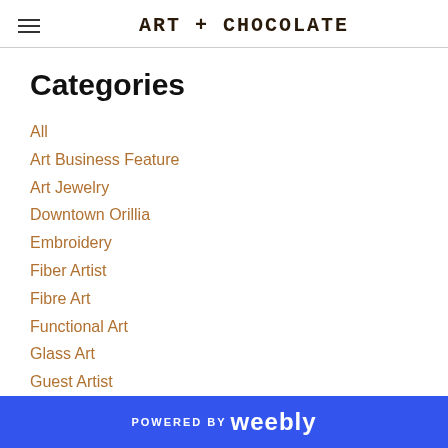Art + Chocolate
Categories
All
Art Business Feature
Art Jewelry
Downtown Orillia
Embroidery
Fiber Artist
Fibre Art
Functional Art
Glass Art
Guest Artist
Handmade
Hibernation Arts
Judy Fontyn-sugg
POWERED BY weebly